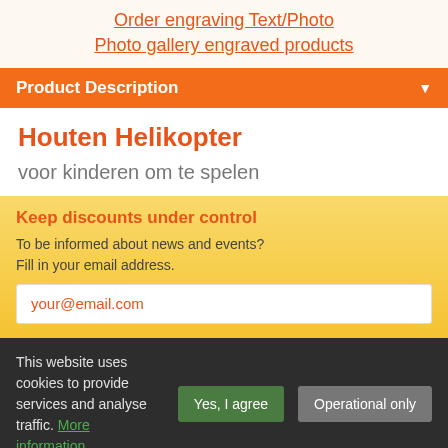Order engraving Text/Photo
Photo gallery engraved products
Product Description
Houten Helikopter
voor kinderen om te spelen
Keep discounts under control
To be informed about news and events? Fill in your email address.
your@email.com
This website uses cookies to provide services and analyse traffic. More information.